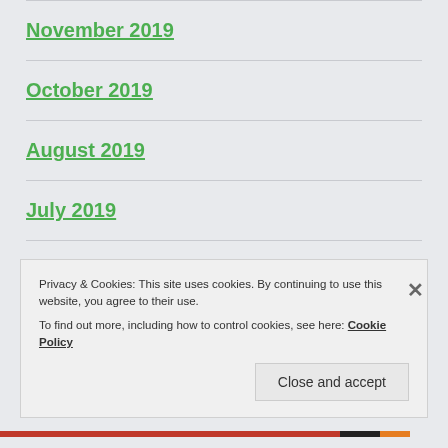November 2019
October 2019
August 2019
July 2019
November 2018
October 2018
Privacy & Cookies: This site uses cookies. By continuing to use this website, you agree to their use. To find out more, including how to control cookies, see here: Cookie Policy
Close and accept